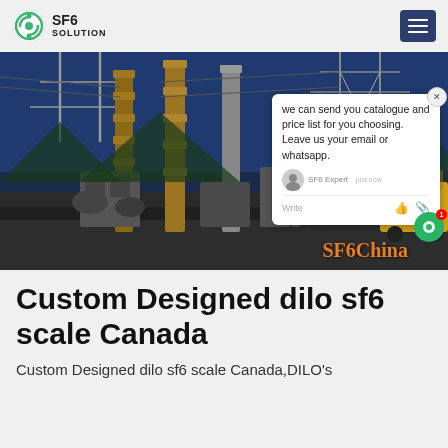[Figure (logo): SF6 Solution logo with green circular icon and text SF6 SOLUTION]
[Figure (photo): Industrial electrical substation at night with equipment, pylons and blue sky background. Chat popup overlay visible with message about catalogue and price list. SF6China watermark in bottom right.]
Custom Designed dilo sf6 scale Canada
Custom Designed dilo sf6 scale Canada,DILO's